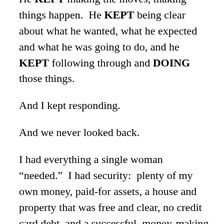He KEPT making the moves, making things happen.  He KEPT being clear about what he wanted, what he expected and what he was going to do, and he KEPT following through and DOING those things.
And I kept responding.
And we never looked back.
I had everything a single woman “needed.”  I had security:  plenty of my own money, paid-for assets, a house and property that was free and clear, no credit card debt, and a successful, money-making business that took care of itself and me.